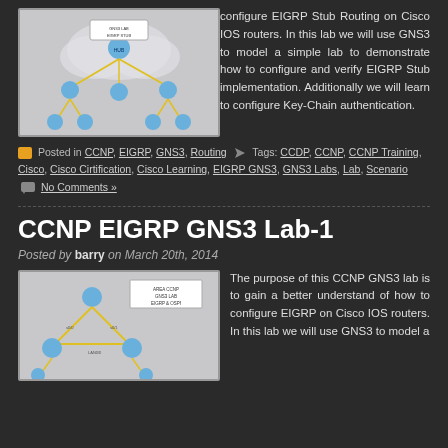[Figure (screenshot): Network topology diagram showing EIGRP Stub Routing lab with routers connected in GNS3]
configure EIGRP Stub Routing on Cisco IOS routers. In this lab we will use GNS3 to model a simple lab to demonstrate how to configure and verify EIGRP Stub implementation. Additionally we will learn to configure Key-Chain authentication.
Posted in CCNP, EIGRP, GNS3, Routing Tags: CCDP, CCNP, CCNP Training, Cisco, Cisco Cirtification, Cisco Learning, EIGRP GNS3, GNS3 Labs, Lab, Scenario No Comments »
CCNP EIGRP GNS3 Lab-1
Posted by barry on March 20th, 2014
[Figure (screenshot): Network topology diagram for CCNP EIGRP GNS3 lab showing routers connected in a triangle topology]
The purpose of this CCNP GNS3 lab is to gain a better understand of how to configure EIGRP on Cisco IOS routers. In this lab we will use GNS3 to model a